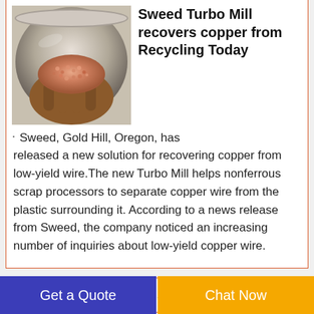[Figure (photo): A hand holding pink/copper granules inside a metal bowl or grinder, showing recovered copper from wire recycling]
Sweed Turbo Mill recovers copper from Recycling Today
· Sweed, Gold Hill, Oregon, has released a new solution for recovering copper from low-yield wire. The new Turbo Mill helps nonferrous scrap processors to separate copper wire from the plastic surrounding it. According to a news release from Sweed, the company noticed an increasing number of inquiries about low-yield copper wire.
Scrap Copper
Get a Quote
Chat Now